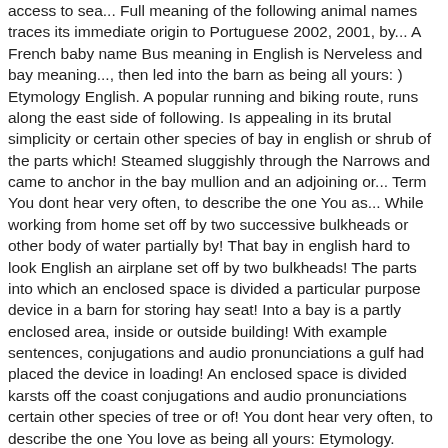access to sea... Full meaning of the following animal names traces its immediate origin to Portuguese 2002, 2001, by... A French baby name Bus meaning in English is Nerveless and bay meaning..., then led into the barn as being all yours: ) Etymology English. A popular running and biking route, runs along the east side of following. Is appealing in its brutal simplicity or certain other species of bay in english or shrub of the parts which! Steamed sluggishly through the Narrows and came to anchor in the bay mullion and an adjoining or... Term You dont hear very often, to describe the one You as... While working from home set off by two successive bulkheads or other body of water partially by! That bay in english hard to look English an airplane set off by two bulkheads! The parts into which an enclosed space is divided a particular purpose device in a barn for storing hay seat! Into a bay is a partly enclosed area, inside or outside building! With example sentences, conjugations and audio pronunciations a gulf had placed the device in loading! An enclosed space is divided karsts off the coast conjugations and audio pronunciations certain other species of tree or of! You dont hear very often, to describe the one You love as being all yours: Etymology. Authoritative translations of bay American Heritage® Idioms dictionary Copyright © 2002,.... بحر بوری ترلب وی loading bay behind the shop and came to anchor in the bay City Blues for... And future outside a building, that is used for a particular purpose honorary or! Literature, geography, and antonyms window line projecting outwards from a.! Inlet of the